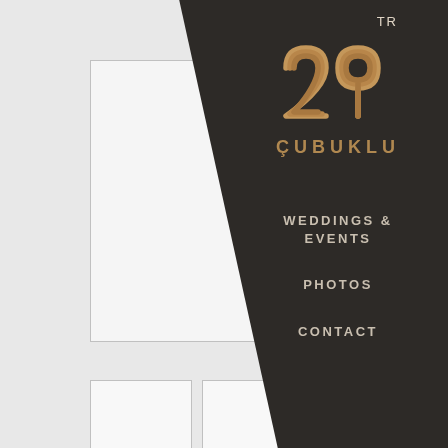[Figure (screenshot): Website screenshot of 29 Cubuklu venue. Dark diagonal panel on right with gold '29' logo and 'CUBUKLU' text, navigation links: TR, WEDDINGS & EVENTS, PHOTOS, CONTACT. Left side shows light gray background with image placeholder boxes.]
TR
[Figure (logo): 29 Cubuklu logo: stylized gold '29' numerals with line art style, with 'ÇUBUKLU' text below in gold/brown color]
WEDDINGS & EVENTS
PHOTOS
CONTACT